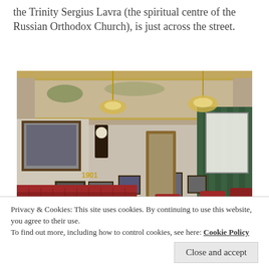the Trinity Sergius Lavra (the spiritual centre of the Russian Orthodox Church), is just across the street.
[Figure (photo): Interior of a restaurant with red upholstered chairs and banquettes, white tablecloths, vintage photographs on white brick walls, ornate gilded ceiling with painted details, chandeliers, and green curtains by windows. A sign reading '1901' is visible.]
Privacy & Cookies: This site uses cookies. By continuing to use this website, you agree to their use.
To find out more, including how to control cookies, see here: Cookie Policy
Close and accept